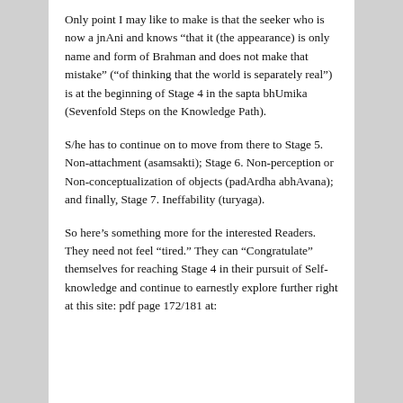Only point I may like to make is that the seeker who is now a jnAni and knows “that it (the appearance) is only name and form of Brahman and does not make that mistake” (“of thinking that the world is separately real”) is at the beginning of Stage 4 in the sapta bhUmika (Sevenfold Steps on the Knowledge Path).
S/he has to continue on to move from there to Stage 5. Non-attachment (asamsakti); Stage 6. Non-perception or Non-conceptualization of objects (padArdha abhAvana); and finally, Stage 7. Ineffability (turyaga).
So here’s something more for the interested Readers. They need not feel “tired.” They can “Congratulate” themselves for reaching Stage 4 in their pursuit of Self-knowledge and continue to earnestly explore further right at this site: pdf page 172/181 at: